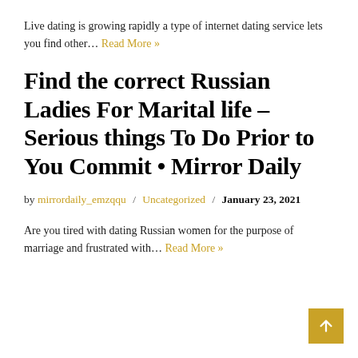Live dating is growing rapidly a type of internet dating service lets you find other… Read More »
Find the correct Russian Ladies For Marital life – Serious things To Do Prior to You Commit • Mirror Daily
by mirrordaily_emzqqu / Uncategorized / January 23, 2021
Are you tired with dating Russian women for the purpose of marriage and frustrated with… Read More »